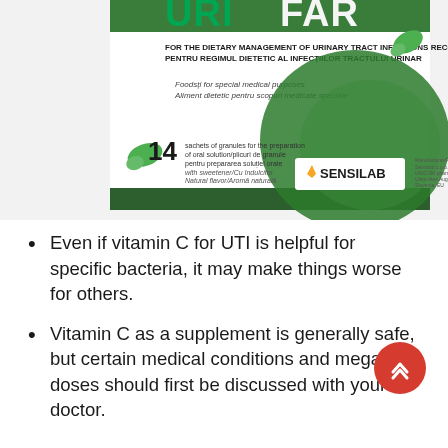[Figure (photo): Product box of URIFAR by Sensilab — dietary management of urinary tract infections, 14 sachets of granules, food for special medical purposes]
Even if vitamin C for UTI is helpful for specific bacteria, it may make things worse for others.
Vitamin C as a supplement is generally safe, but certain medical conditions and mega doses should first be discussed with your doctor.
Don't take our word for it, do your own research, and take